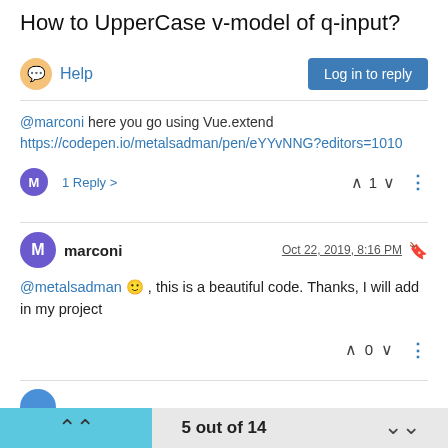How to UpperCase v-model of q-input?
Help
@marconi here you go using Vue.extend
https://codepen.io/metalsadman/pen/eYYvNNG?editors=1010
1 Reply
marconi Oct 22, 2019, 8:16 PM
@metalsadman 🙂 , this is a beautiful code. Thanks, I will add in my project
5 out of 14